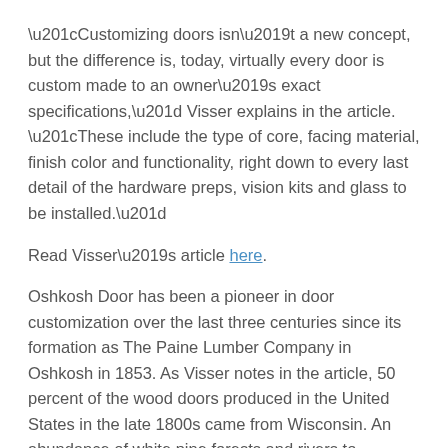“Customizing doors isn’t a new concept, but the difference is, today, virtually every door is custom made to an owner’s exact specifications,” Visser explains in the article. “These include the type of core, facing material, finish color and functionality, right down to every last detail of the hardware preps, vision kits and glass to be installed.”
Read Visser’s article here.
Oshkosh Door has been a pioneer in door customization over the last three centuries since its formation as The Paine Lumber Company in Oshkosh in 1853. As Visser notes in the article, 50 percent of the wood doors produced in the United States in the late 1800s came from Wisconsin. An abundance of white pine forests and rivers to transport logs in Northeastern Wisconsin made the region attractive to sash and door manufacturers, and Paine Lumber was the nation’s largest door producer at the time.
“We are proud of our heritage for crafting and distributing the very best in customized doors,” said Oshkosh Door